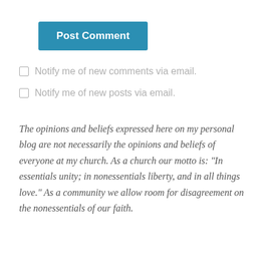[Figure (other): Blue 'Post Comment' button]
Notify me of new comments via email.
Notify me of new posts via email.
The opinions and beliefs expressed here on my personal blog are not necessarily the opinions and beliefs of everyone at my church. As a church our motto is: "In essentials unity; in nonessentials liberty, and in all things love." As a community we allow room for disagreement on the nonessentials of our faith.